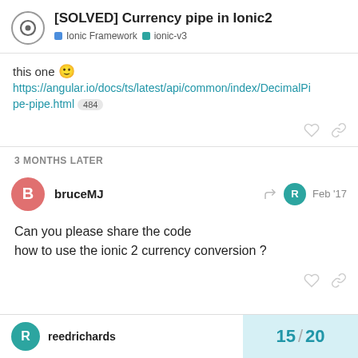[SOLVED] Currency pipe in Ionic2
Ionic Framework  ionic-v3
this one 🙂 https://angular.io/docs/ts/latest/api/common/index/DecimalPipe-pipe.html  484
3 MONTHS LATER
bruceMJ  Feb '17
Can you please share the code
how to use the ionic 2 currency conversion ?
reedrichards  15 / 20